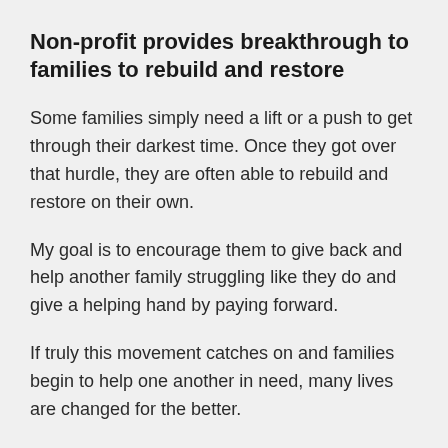Non-profit provides breakthrough to families to rebuild and restore
Some families simply need a lift or a push to get through their darkest time. Once they got over that hurdle, they are often able to rebuild and restore on their own.
My goal is to encourage them to give back and help another family struggling like they do and give a helping hand by paying forward.
If truly this movement catches on and families begin to help one another in need, many lives are changed for the better.